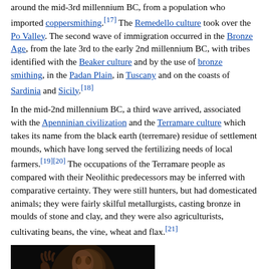around the mid-3rd millennium BC, from a population who imported coppersmithing.[17] The Remedello culture took over the Po Valley. The second wave of immigration occurred in the Bronze Age, from the late 3rd to the early 2nd millennium BC, with tribes identified with the Beaker culture and by the use of bronze smithing, in the Padan Plain, in Tuscany and on the coasts of Sardinia and Sicily.[18]
In the mid-2nd millennium BC, a third wave arrived, associated with the Apenninian civilization and the Terramare culture which takes its name from the black earth (terremare) residue of settlement mounds, which have long served the fertilizing needs of local farmers.[19][20] The occupations of the Terramare people as compared with their Neolithic predecessors may be inferred with comparative certainty. They were still hunters, but had domesticated animals; they were fairly skilful metallurgists, casting bronze in moulds of stone and clay, and they were also agriculturists, cultivating beans, the vine, wheat and flax.[21]
[Figure (photo): A dark photograph showing what appears to be an ancient mummified figure or archaeological specimen against a black background.]